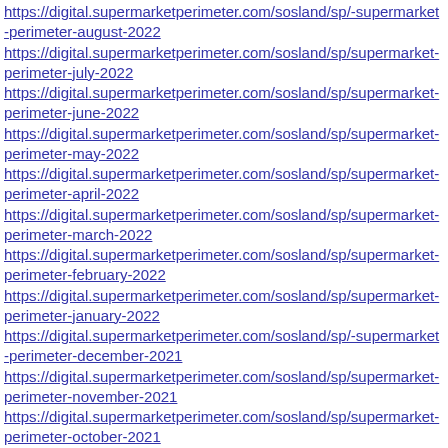https://digital.supermarketperimeter.com/sosland/sp/-supermarket-perimeter-august-2022
https://digital.supermarketperimeter.com/sosland/sp/supermarket-perimeter-july-2022
https://digital.supermarketperimeter.com/sosland/sp/supermarket-perimeter-june-2022
https://digital.supermarketperimeter.com/sosland/sp/supermarket-perimeter-may-2022
https://digital.supermarketperimeter.com/sosland/sp/supermarket-perimeter-april-2022
https://digital.supermarketperimeter.com/sosland/sp/supermarket-perimeter-march-2022
https://digital.supermarketperimeter.com/sosland/sp/supermarket-perimeter-february-2022
https://digital.supermarketperimeter.com/sosland/sp/supermarket-perimeter-january-2022
https://digital.supermarketperimeter.com/sosland/sp/-supermarket-perimeter-december-2021
https://digital.supermarketperimeter.com/sosland/sp/supermarket-perimeter-november-2021
https://digital.supermarketperimeter.com/sosland/sp/supermarket-perimeter-october-2021
https://digital.supermarketperimeter.com/sosland/sp/supermarket-perimeter-september-2021
https://digital.supermarketperimeter.com/sosland/sp/supermarket-perimeter-